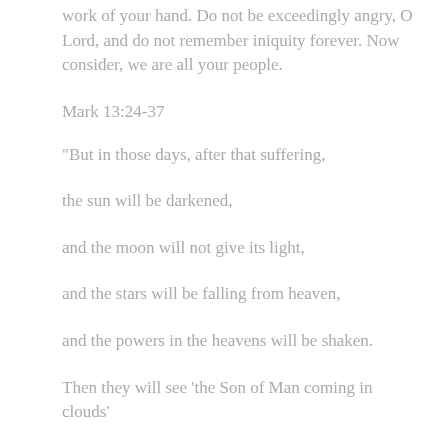work of your hand. Do not be exceedingly angry, O Lord, and do not remember iniquity forever. Now consider, we are all your people.
Mark 13:24-37
“But in those days, after that suffering,
the sun will be darkened,
and the moon will not give its light,
and the stars will be falling from heaven,
and the powers in the heavens will be shaken.
Then they will see ‘the Son of Man coming in clouds’